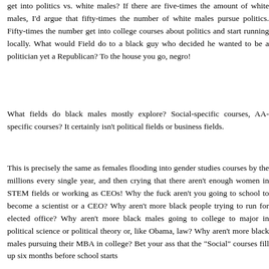get into politics vs. white males? If there are five-times the amount of white males, I'd argue that fifty-times the number of white males pursue politics. Fifty-times the number get into college courses about politics and start running locally. What would Field do to a black guy who decided he wanted to be a politician yet a Republican? To the house you go, negro!
What fields do black males mostly explore? Social-specific courses, AA-specific courses? It certainly isn't political fields or business fields.
This is precisely the same as females flooding into gender studies courses by the millions every single year, and then crying that there aren't enough women in STEM fields or working as CEOs! Why the fuck aren't you going to school to become a scientist or a CEO? Why aren't more black people trying to run for elected office? Why aren't more black males going to college to major in political science or political theory or, like Obama, law? Why aren't more black males pursuing their MBA in college? Bet your ass that the "Social" courses fill up six months before school starts